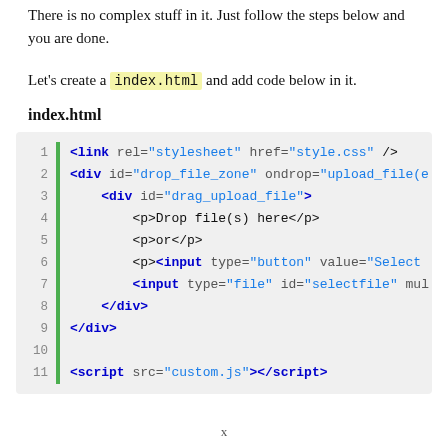There is no complex stuff in it. Just follow the steps below and you are done.
Let's create a index.html and add code below in it.
index.html
[Figure (screenshot): Code block showing HTML snippet: link tag for stylesheet, div with id drop_file_zone and ondrop handler, inner div with id drag_upload_file, p tags with Drop file(s) here and or, p with input button Select, input file with id selectfile, closing divs, and script tag for custom.js]
x